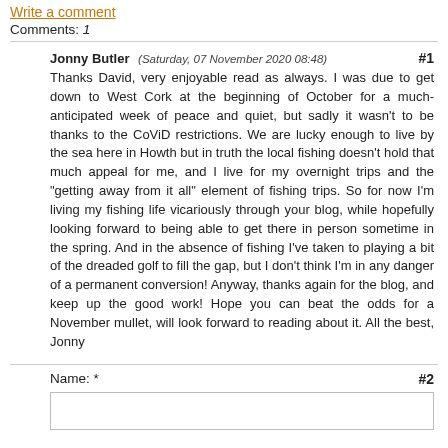Write a comment
Comments: 1
Jonny Butler (Saturday, 07 November 2020 08:48) #1
Thanks David, very enjoyable read as always. I was due to get down to West Cork at the beginning of October for a much-anticipated week of peace and quiet, but sadly it wasn’t to be thanks to the CoViD restrictions. We are lucky enough to live by the sea here in Howth but in truth the local fishing doesn’t hold that much appeal for me, and I live for my overnight trips and the “getting away from it all” element of fishing trips. So for now I’m living my fishing life vicariously through your blog, while hopefully looking forward to being able to get there in person sometime in the spring. And in the absence of fishing I’ve taken to playing a bit of the dreaded golf to fill the gap, but I don’t think I’m in any danger of a permanent conversion! Anyway, thanks again for the blog, and keep up the good work! Hope you can beat the odds for a November mullet, will look forward to reading about it. All the best, Jonny
Name: * #2